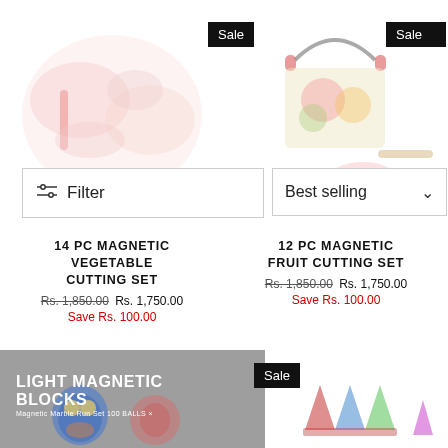[Figure (photo): Product photo of 14 PC Magnetic Vegetable Cutting Set with colorful vegetable toys on white background, Sale badge in top right]
[Figure (photo): Product photo of 12 PC Magnetic Fruit Cutting Set with colorful fruit toys in a bucket on white background, Sale badge in top right]
Filter bar with filter icon and Best selling dropdown
14 PC MAGNETIC VEGETABLE CUTTING SET
Rs. 1,850.00  Rs. 1,750.00
Save Rs. 100.00
12 PC MAGNETIC FRUIT CUTTING SET
Rs. 1,850.00  Rs. 1,750.00
Save Rs. 100.00
[Figure (photo): Light Magnetic Blocks product box with colorful owl toy figures on grey background, Sale badge visible]
[Figure (photo): Colorful magnetic tiles/blocks product photo on white background]